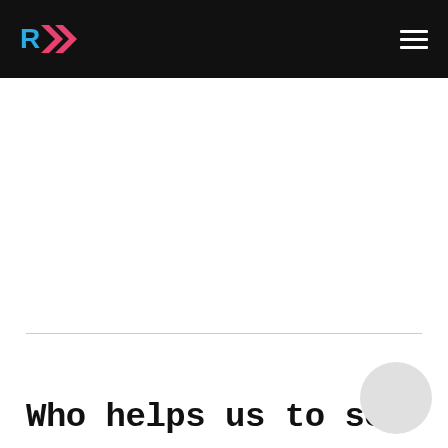R>> [logo with hamburger menu]
Who helps us to solv